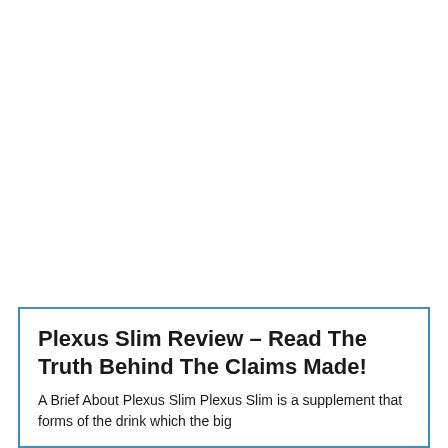Plexus Slim Review – Read The Truth Behind The Claims Made!
A Brief About Plexus Slim Plexus Slim is a supplement that forms of the drink which the big